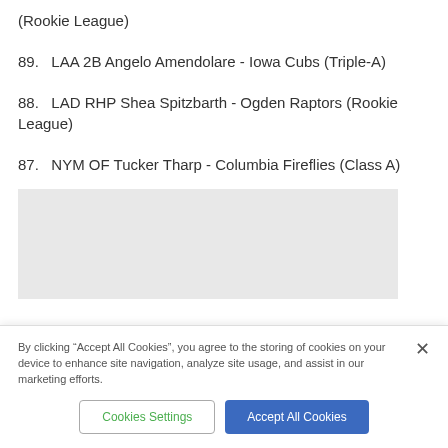(Rookie League)
89.   LAA 2B Angelo Amendolare - Iowa Cubs (Triple-A)
88.   LAD RHP Shea Spitzbarth - Ogden Raptors (Rookie League)
87.   NYM OF Tucker Tharp - Columbia Fireflies (Class A)
[Figure (other): Gray placeholder/ad box]
By clicking “Accept All Cookies”, you agree to the storing of cookies on your device to enhance site navigation, analyze site usage, and assist in our marketing efforts.
Cookies Settings | Accept All Cookies